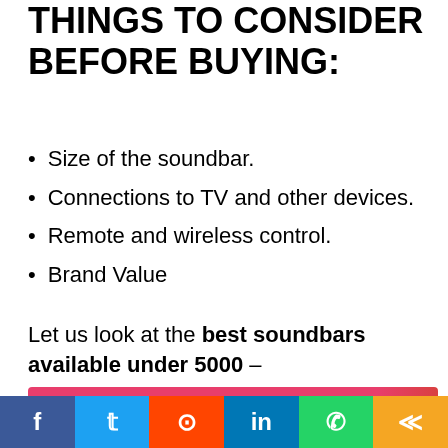THINGS TO CONSIDER BEFORE BUYING:
Size of the soundbar.
Connections to TV and other devices.
Remote and wireless control.
Brand Value
Let us look at the best soundbars available under 5000 –
1. Mi Soundbar